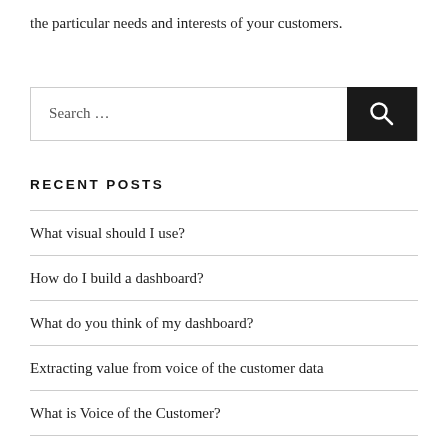the particular needs and interests of your customers.
[Figure (other): Search input box with dark search button containing a magnifying glass icon]
RECENT POSTS
What visual should I use?
How do I build a dashboard?
What do you think of my dashboard?
Extracting value from voice of the customer data
What is Voice of the Customer?